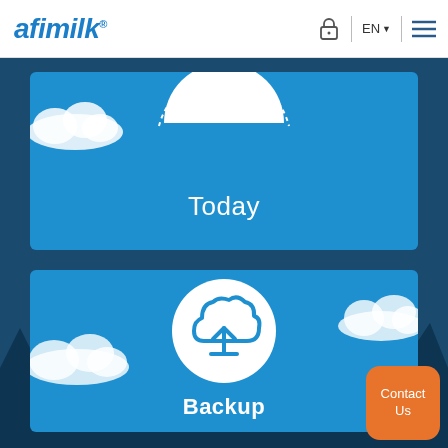afimilk | EN | menu
[Figure (screenshot): Blue card with dotted arc at top, cloud decorations, and 'Today' label in white text on blue background]
Today
[Figure (screenshot): Blue card with cloud upload icon in white circle and 'Backup' label in white text on blue background]
Backup
Contact Us